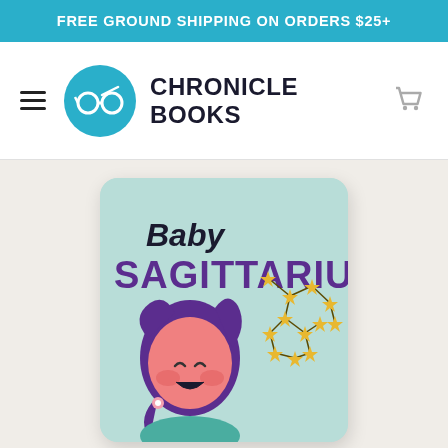FREE GROUND SHIPPING ON ORDERS $25+
[Figure (logo): Chronicle Books logo: teal circle with eyeglasses icon and 'CHRONICLE BOOKS' wordmark in dark uppercase letters, shopping cart icon on right, hamburger menu on left]
[Figure (photo): Book cover of 'Baby Sagittarius' — light teal background, text 'Baby' in dark navy italic and 'SAGITTARIUS' in large bold purple letters, illustrated cartoon girl with purple hair and rosy cheeks laughing, gold star constellation diagram on the right side of cover]